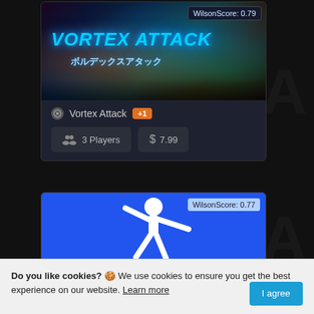[Figure (screenshot): Vortex Attack game card showing game artwork with blue sci-fi shooter title screen, WilsonScore 0.79 badge, Steam icon, game name, +1 badge, 3 Players stat, and $7.99 price]
[Figure (screenshot): Broll game card showing blue background with white silhouette figure and BROLL text, WilsonScore 0.77 badge]
Do you like cookies? 🍪 We use cookies to ensure you get the best experience on our website. Learn more   I agree